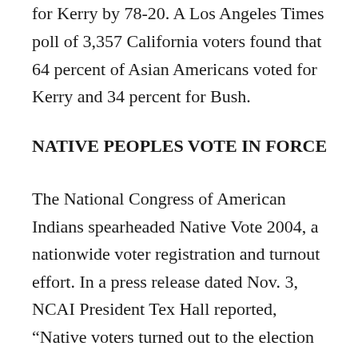for Kerry by 78-20. A Los Angeles Times poll of 3,357 California voters found that 64 percent of Asian Americans voted for Kerry and 34 percent for Bush.
NATIVE PEOPLES VOTE IN FORCE
The National Congress of American Indians spearheaded Native Vote 2004, a nationwide voter registration and turnout effort. In a press release dated Nov. 3, NCAI President Tex Hall reported, “Native voters turned out to the election polls in greater numbers for this election day than any other in history.” The release documented voter turnout successes across Indian country, including a doubling of Native voters in Minnesota. This show of